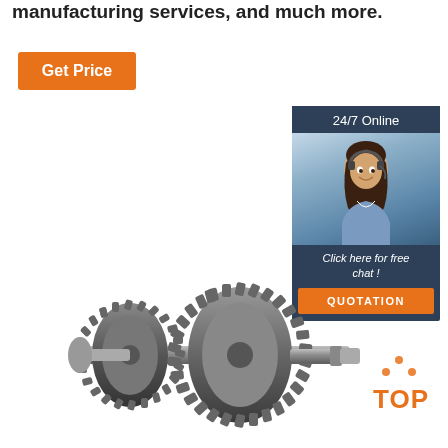manufacturing services, and much more.
[Figure (other): Orange 'Get Price' button]
[Figure (infographic): 24/7 Online chat widget with customer service representative photo, 'Click here for free chat!' text, and orange QUOTATION button]
[Figure (photo): Metal gear shaft assembly with multiple spur gears on a shaft, industrial manufacturing component]
[Figure (logo): TOP badge logo with orange dots arranged in a triangle above the word TOP]